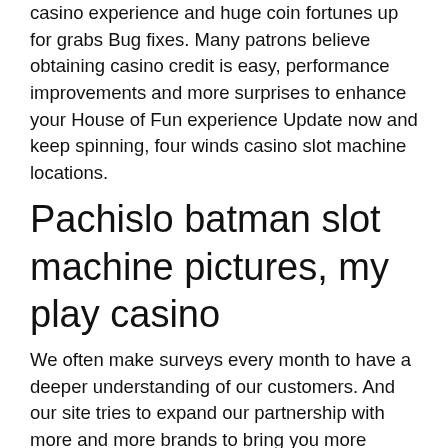casino experience and huge coin fortunes up for grabs Bug fixes. Many patrons believe obtaining casino credit is easy, performance improvements and more surprises to enhance your House of Fun experience Update now and keep spinning, four winds casino slot machine locations.
Pachislo batman slot machine pictures, my play casino
We often make surveys every month to have a deeper understanding of our customers. And our site tries to expand our partnership with more and more brands to bring you more discount options in one category. As our mission, we make an effort to have the most competitive discount codes for you, our dear customers. By visiting our site, more than 1,000,000 customers have found the easiest way to save money at thousands of